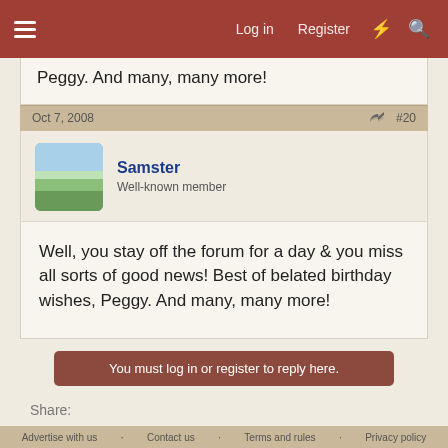Log in  Register
Peggy. And many, many more!
Oct 7, 2008   #20
Samster
Well-known member
Well, you stay off the forum for a day & you miss all sorts of good news! Best of belated birthday wishes, Peggy. And many, many more!
You must log in or register to reply here.
Share:
< General Inn Discussions
Advertise with us  Contact us  Terms and rules  Privacy policy